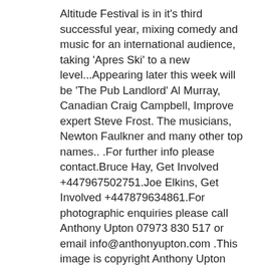Altitude Festival is in it's third successful year, mixing comedy and music for an international audience, taking 'Apres Ski' to a new level...Appearing later this week will be 'The Pub Landlord' Al Murray, Canadian Craig Campbell, Improve expert Steve Frost. The musicians, Newton Faulkner and many other top names.. .For further info please contact.Bruce Hay, Get Involved +447967502751.Joe Elkins, Get Involved +447879634861.For photographic enquiries please call Anthony Upton 07973 830 517 or email info@anthonyupton.com .This image is copyright Anthony Upton 2010©..This image has been supplied by Anthony Upton and must be credited Anthony Upton. The author is asserting his full Moral rights in relation to the publication of this image. All rights reserved. Rights for onward transmission of any image or file is not granted or implied. Changing or deleting Copyright information is illegal as specified in the Copyright, Design and Patents Act 1988. If you are in any way unsure of your right to publish this image please contact Anthony Upton on +44(0)7973 830 517 or email